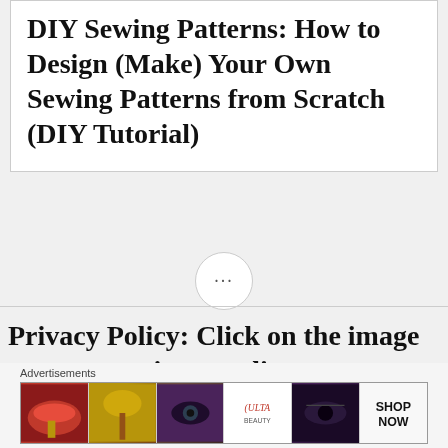DIY Sewing Patterns: How to Design (Make) Your Own Sewing Patterns from Scratch (DIY Tutorial)
[Figure (other): Ellipsis (three dots) button in a circular border, used as a UI element]
Privacy Policy: Click on the image to see my privacy policy.
[Figure (photo): Purple/lavender banner image strip]
Advertisements
[Figure (photo): Advertisement banner showing makeup-related images: lips, brush, eye, Ulta beauty logo, eye makeup, and Shop Now button]